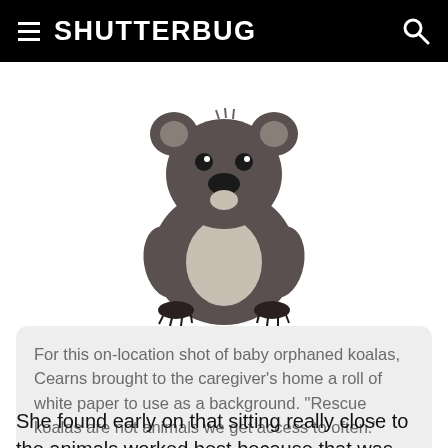≡ SHUTTERBUG 🔍
[Figure (photo): A baby koala with dark grey fur and a white chest, sitting upright against a white background, looking slightly upward.]
For this on-location shot of baby orphaned koalas, Cearns brought to the caregiver's home a roll of white paper to use as a background. "Rescue koalas are not animals we get access to often."
She found early on that sitting really close to the animals worked best because that was where she